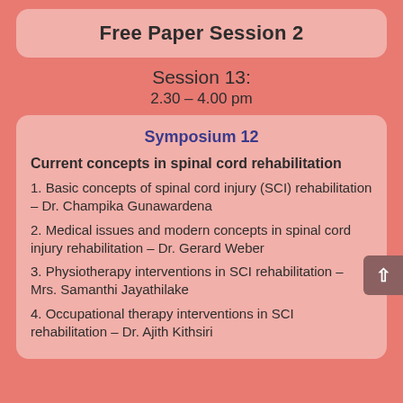Free Paper Session 2
Session 13:
2.30 – 4.00 pm
Symposium 12
Current concepts in spinal cord rehabilitation
1. Basic concepts of spinal cord injury (SCI) rehabilitation – Dr. Champika Gunawardena
2. Medical issues and modern concepts in spinal cord injury rehabilitation – Dr. Gerard Weber
3. Physiotherapy interventions in SCI rehabilitation – Mrs. Samanthi Jayathilake
4. Occupational therapy interventions in SCI rehabilitation – Dr. Ajith Kithsiri